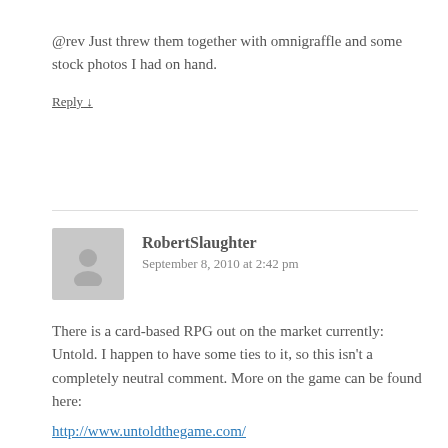@rev Just threw them together with omnigraffle and some stock photos I had on hand.
Reply ↓
RobertSlaughter
September 8, 2010 at 2:42 pm
There is a card-based RPG out on the market currently: Untold. I happen to have some ties to it, so this isn't a completely neutral comment. More on the game can be found here:
http://www.untoldthegame.com/
Reply ↓